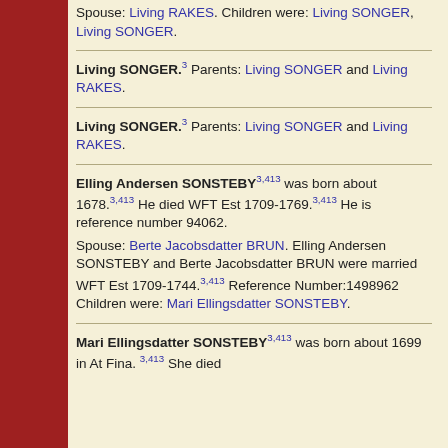Spouse: Living RAKES. Children were: Living SONGER, Living SONGER.
Living SONGER.3 Parents: Living SONGER and Living RAKES.
Living SONGER.3 Parents: Living SONGER and Living RAKES.
Elling Andersen SONSTEBY3,413 was born about 1678.3,413 He died WFT Est 1709-1769.3,413 He is reference number 94062.
Spouse: Berte Jacobsdatter BRUN. Elling Andersen SONSTEBY and Berte Jacobsdatter BRUN were married WFT Est 1709-1744.3,413 Reference Number:1498962 Children were: Mari Ellingsdatter SONSTEBY.
Mari Ellingsdatter SONSTEBY3,413 was born about 1699 in At Fina.3,413 She died